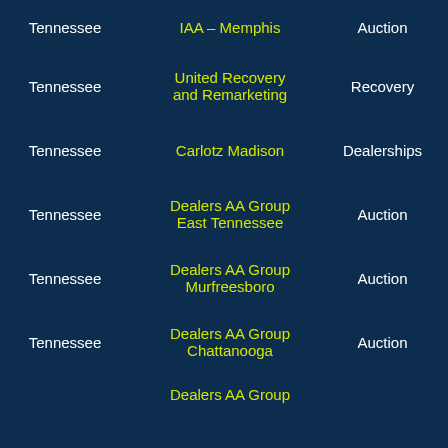| State | Name | Type | Link |
| --- | --- | --- | --- |
| Tennessee | IAA – Memphis | Auction | Go to Map |
| Tennessee | United Recovery and Remarketing | Recovery | Go to Map |
| Tennessee | Carlotz Madison | Dealerships | Go to Map |
| Tennessee | Dealers AA Group East Tennessee | Auction | Go to Map |
| Tennessee | Dealers AA Group Murfreesboro | Auction | Go to Map |
| Tennessee | Dealers AA Group Chattanooga | Auction | Go to Map |
| Tennessee | Dealers AA Group... | Auction | Go |